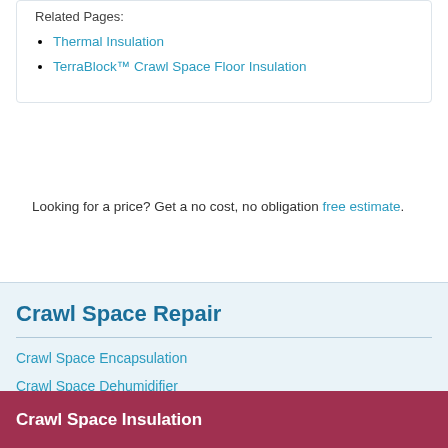Related Pages:
Thermal Insulation
TerraBlock™ Crawl Space Floor Insulation
Looking for a price? Get a no cost, no obligation free estimate.
Crawl Space Repair
Crawl Space Encapsulation
Crawl Space Dehumidifier
Crawl Space Insulation